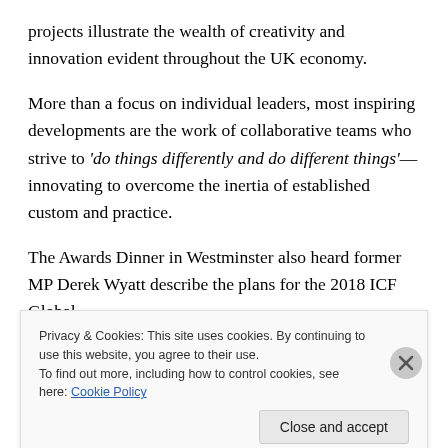projects illustrate the wealth of creativity and innovation evident throughout the UK economy.
More than a focus on individual leaders, most inspiring developments are the work of collaborative teams who strive to 'do things differently and do different things'—innovating to overcome the inertia of established custom and practice.
The Awards Dinner in Westminster also heard former MP Derek Wyatt describe the plans for the 2018 ICF Global
Privacy & Cookies: This site uses cookies. By continuing to use this website, you agree to their use.
To find out more, including how to control cookies, see here: Cookie Policy
Close and accept